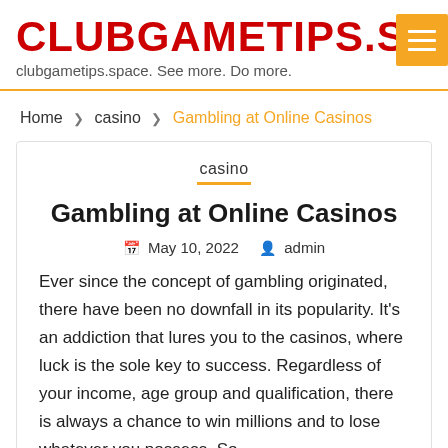CLUBGAMETIPS.SPAC
clubgametips.space. See more. Do more.
Home ❯ casino ❯ Gambling at Online Casinos
casino
Gambling at Online Casinos
May 10, 2022  admin
Ever since the concept of gambling originated, there have been no downfall in its popularity. It's an addiction that lures you to the casinos, where luck is the sole key to success. Regardless of your income, age group and qualification, there is always a chance to win millions and to lose whatever you possess. So